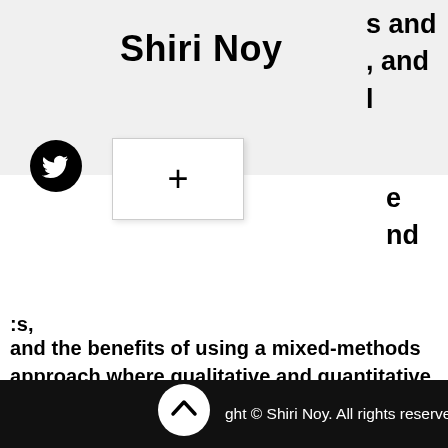Shiri Noy
s and
, and
l

e
nd

s,
and the benefits of using a mixed-methods approach where qualitative and quantitative data provide a more complete examination than either separately. I also provide some practical tips for those hoping to undertake this type of research, outlining the rewards and challenges of mixed-methods, comparative, and in particular cross-national, research.
ght © Shiri Noy. All rights reserved.